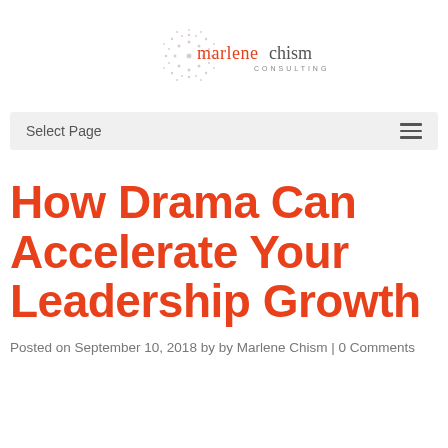[Figure (logo): Marlene Chism Consulting logo with starburst graphic and text 'marlenechism CONSULTING']
Select Page
How Drama Can Accelerate Your Leadership Growth
Posted on September 10, 2018 by by Marlene Chism | 0 Comments